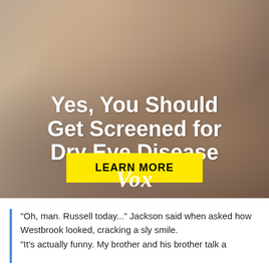[Figure (photo): Advertisement banner showing a person rubbing their eyes, with bold white text overlay reading 'Yes, You Should Get Screened for Dry Eye Disease', a yellow 'LEARN MORE' button, and the Vox logo at the bottom of the image.]
"Oh, man. Russell today..." Jackson said when asked how Westbrook looked, cracking a sly smile. "It's actually funny. My brother and his brother talk a